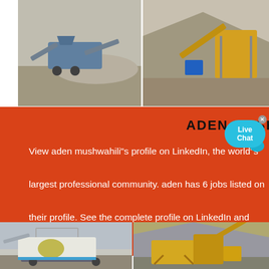[Figure (photo): Two photos of mining/quarry crushing equipment and machinery at a quarry site, arranged side by side at the top of the page.]
ADEN MUSHWAHILI
View aden mushwahili"s profile on LinkedIn, the world"s largest professional community. aden has 6 jobs listed on their profile. See the complete profile on LinkedIn and discover ...
[Figure (photo): Two photos of mobile and stationary mining/crushing machinery, arranged side by side at the bottom of the page.]